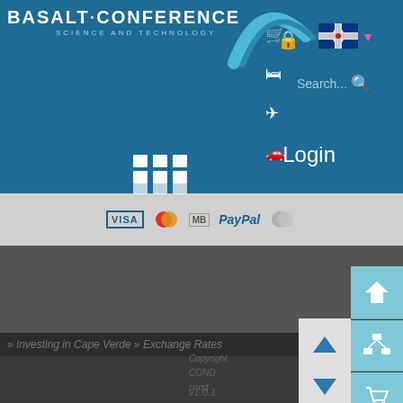BASALT·CONFERENCE SCIENCE AND TECHNOLOGY
Search...
Login
[Figure (screenshot): Payment method logos: VISA, Mastercard, MB, PayPal, Maestro]
» Investing in Cape Verde » Exchange Rates
Copyright
COND
cond
v1.0.1
[Figure (screenshot): Sidebar navigation buttons with icons: home, network, cart, database, scroll up/down arrows]